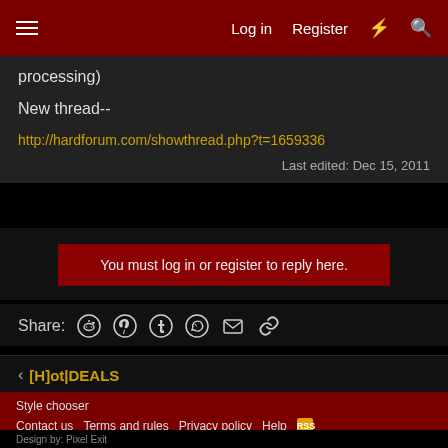Log in  Register
processing)
New thread--
http://hardforum.com/showthread.php?t=1659336
Last edited: Dec 15, 2011
You must log in or register to reply here.
Share:
< [H]ot|DEALS
Style chooser  Contact us  Terms and rules  Privacy policy  Help
Design by: Pixel Exit